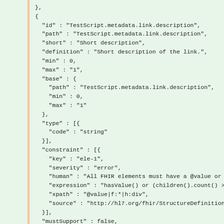JSON code snippet showing FHIR StructureDefinition element for TestScript.metadata.link.description with id, path, short, definition, min, max, base, type, constraint, mustSupport, isModifier, isSummary fields